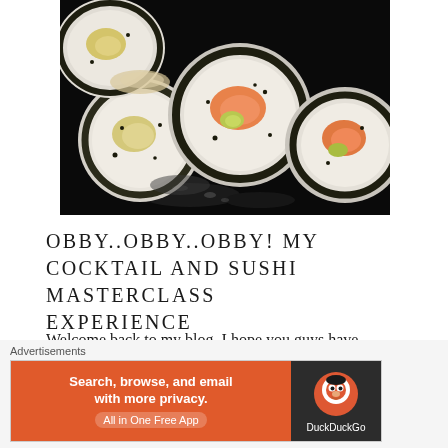[Figure (photo): Close-up photograph of sushi rolls (California/salmon rolls) on a dark plate, showing rice, seaweed, salmon filling and avocado.]
OBBY..OBBY..OBBY! MY COCKTAIL AND SUSHI MASTERCLASS EXPERIENCE
Welcome back to my blog, I hope you guys have been enjoying the last days of summer and my last post helped you all. I had a chance to visit last days of Shoreditch last
[Figure (screenshot): DuckDuckGo advertisement banner: 'Search, browse, and email with more privacy. All in One Free App' with DuckDuckGo logo on dark background.]